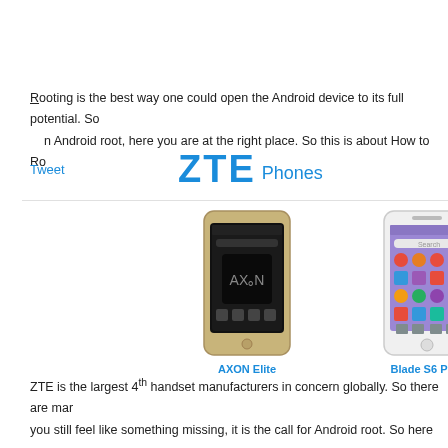Rooting is the best way one could open the Android device to its full potential. So... n Android root, here you are at the right place. So this is about How to Ro...
Tweet
[Figure (logo): ZTE Phones logo with ZTE in large blue text and Phones in smaller blue text]
[Figure (photo): Three ZTE phones: AXON Elite (gold/dark), Blade S6 Plus (white), and a third partially visible phone]
AXON Elite     Blade S6 Plus     S...
ZTE is the largest 4th handset manufacturers in concern globally. So there are mar... you still feel like something missing, it is the call for Android root. So here you ar... easiest way.